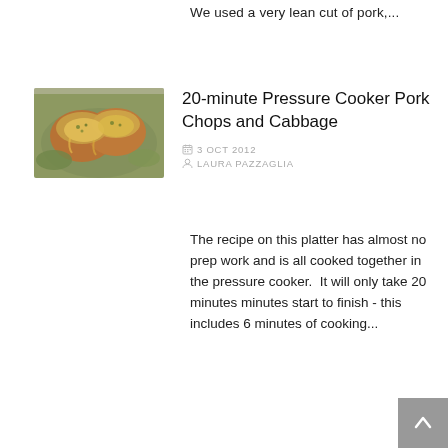We used a very lean cut of pork,...
20-minute Pressure Cooker Pork Chops and Cabbage
3 OCT 2012
LAURA PAZZAGLIA
[Figure (photo): Photo of pressure cooker pork chops — breaded, golden-topped pork with sauce on a plate]
The recipe on this platter has almost no prep work and is all cooked together in the pressure cooker.  It will only take 20 minutes minutes start to finish - this includes 6 minutes of cooking...